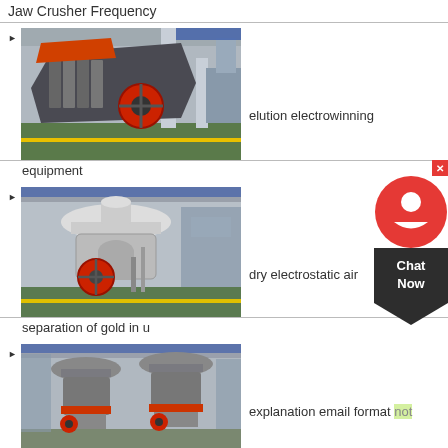Jaw Crusher Frequency
[Figure (photo): Industrial impact crusher machine in a factory/warehouse setting, red flywheel visible]
elution electrowinning
equipment
[Figure (photo): Cone crusher machine in an industrial facility, red flywheel at base]
dry electrostatic air
separation of gold in u
[Figure (photo): Two cone crushers side by side in a factory setting with red accent rings]
explanation email format not